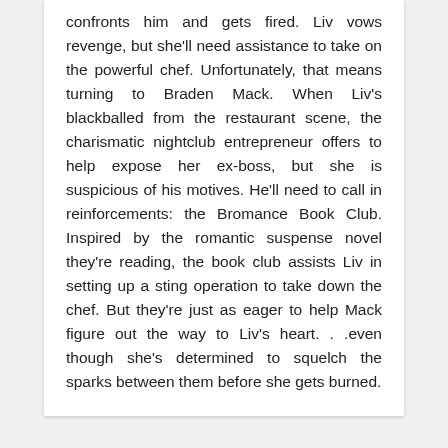confronts him and gets fired. Liv vows revenge, but she'll need assistance to take on the powerful chef. Unfortunately, that means turning to Braden Mack. When Liv's blackballed from the restaurant scene, the charismatic nightclub entrepreneur offers to help expose her ex-boss, but she is suspicious of his motives. He'll need to call in reinforcements: the Bromance Book Club. Inspired by the romantic suspense novel they're reading, the book club assists Liv in setting up a sting operation to take down the chef. But they're just as eager to help Mack figure out the way to Liv's heart. . .even though she's determined to squelch the sparks between them before she gets burned.